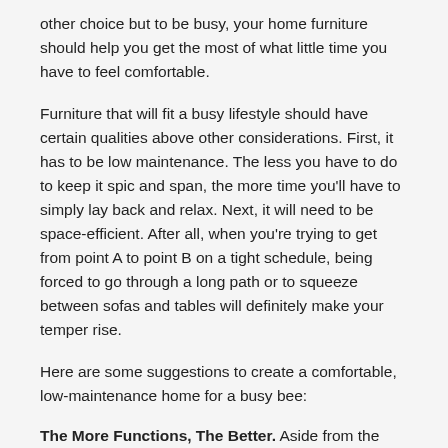other choice but to be busy, your home furniture should help you get the most of what little time you have to feel comfortable.
Furniture that will fit a busy lifestyle should have certain qualities above other considerations. First, it has to be low maintenance. The less you have to do to keep it spic and span, the more time you'll have to simply lay back and relax. Next, it will need to be space-efficient. After all, when you're trying to get from point A to point B on a tight schedule, being forced to go through a long path or to squeeze between sofas and tables will definitely make your temper rise.
Here are some suggestions to create a comfortable, low-maintenance home for a busy bee:
The More Functions, The Better. Aside from the novelty factor, multi-functional furniture can help you